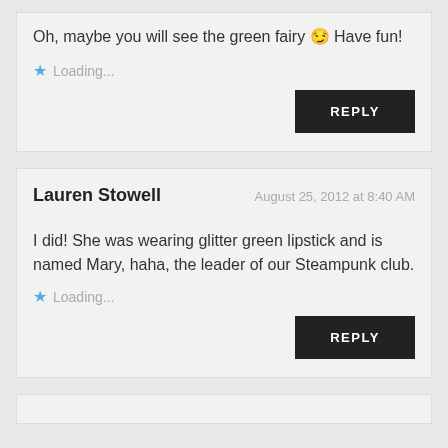Oh, maybe you will see the green fairy 😉 Have fun!
Loading...
REPLY
Lauren Stowell
August 25, 2012 at 8:40 AM
I did! She was wearing glitter green lipstick and is named Mary, haha, the leader of our Steampunk club.
Loading...
REPLY